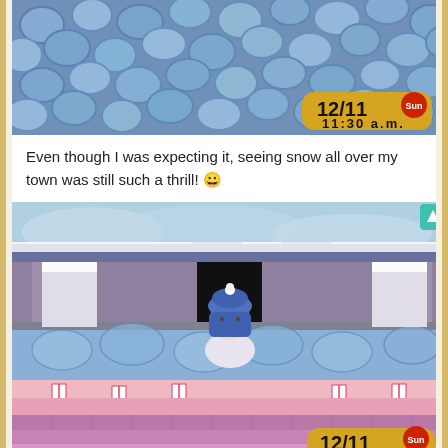[Figure (screenshot): Animal Crossing game screenshot showing snowy ground texture with hexagonal blue-white snow pattern. Date/time overlay shows 12/11 Sun 11:30 a.m.]
Even though I was expecting it, seeing snow all over my town was still such a thrill! 😀
[Figure (screenshot): Animal Crossing game screenshot showing character in winter outfit standing at town gate with snow piled on it. Date/time overlay shows 12/11 Sun 11:31 a.m.]
Snow was piled on the gate.